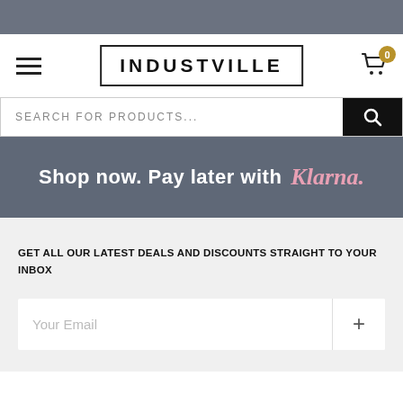[Figure (screenshot): Top gray navigation bar]
[Figure (logo): Industville logo with rectangular border and hamburger menu icon, cart icon with badge showing 0]
SEARCH FOR PRODUCTS...
Shop now. Pay later with Klarna.
GET ALL OUR LATEST DEALS AND DISCOUNTS STRAIGHT TO YOUR INBOX
Your Email